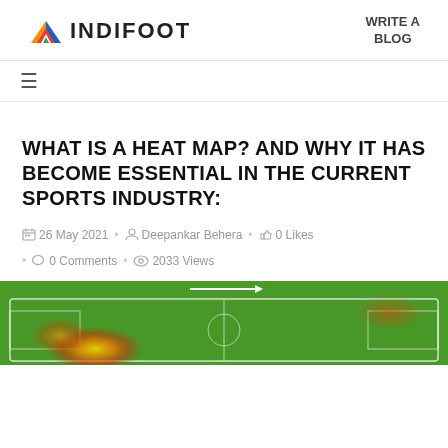INDIFOOT | WRITE A BLOG
WHAT IS A HEAT MAP? AND WHY IT HAS BECOME ESSENTIAL IN THE CURRENT SPORTS INDUSTRY:
26 May 2021 • Deepankar Behera • 0 Likes • 0 Comments • 2033 Views
[Figure (other): Football heat map showing player movement overlay on a green pitch, with a white arrow indicating direction and colored heat spots (yellow/orange/red) in the lower-left region.]